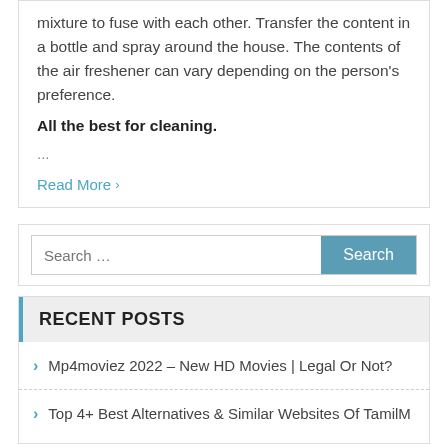mixture to fuse with each other. Transfer the content in a bottle and spray around the house. The contents of the air freshener can vary depending on the person's preference.
All the best for cleaning.
...
Read More >
Search ...
RECENT POSTS
Mp4moviez 2022 – New HD Movies | Legal Or Not?
Top 4+ Best Alternatives & Similar Websites Of TamilM